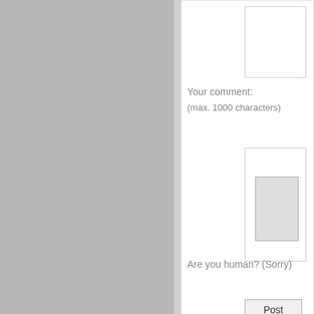[Figure (photo): Gray image placeholder on left side of page]
Your comment:
(max. 1000 characters)
Are you human? (Sorry)
Post
About Us | Contact Us | Copyright © 2007-2022 Cosm